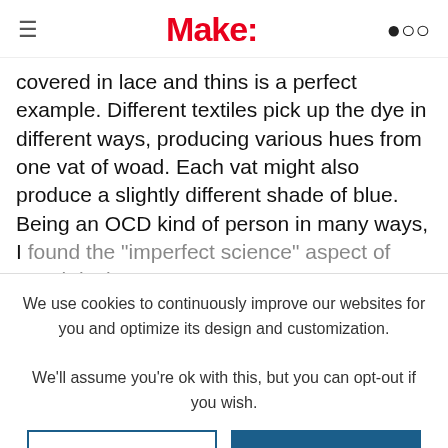Make:
covered in lace and thins is a perfect example. Different textiles pick up the dye in different ways, producing various hues from one vat of woad. Each vat might also produce a slightly different shade of blue. Being an OCD kind of person in many ways, I found the "imperfect science" aspect of woad dyeing
We use cookies to continuously improve our websites for you and optimize its design and customization.
We'll assume you're ok with this, but you can opt-out if you wish.
CONFIGURE
ACCEPT